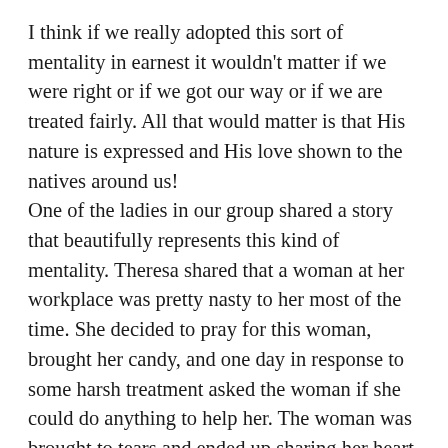I think if we really adopted this sort of mentality in earnest it wouldn't matter if we were right or if we got our way or if we are treated fairly. All that would matter is that His nature is expressed and His love shown to the natives around us! One of the ladies in our group shared a story that beautifully represents this kind of mentality. Theresa shared that a woman at her workplace was pretty nasty to her most of the time. She decided to pray for this woman, brought her candy, and one day in response to some harsh treatment asked the woman if she could do anything to help her. The woman was brought to tears and ended up sharing her heart with Theresa. Thus, the restoration began. Heaven is our home those around us are our mission field, lets make them say “yall aren’t